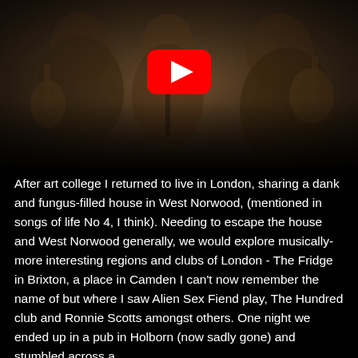[Figure (photo): Sepia-toned vintage photograph of musicians playing instruments, with a YouTube play button overlay in the center. The image shows at least two or three people with guitars near a microphone stand.]
After art college I returned to live in London, sharing a dank and fungus-filled house in West Norwood, (mentioned in songs of life No 4, I think). Needing to escape the house and West Norwood generally, we would explore musically-more interesting regions and clubs of London - The Fridge in Brixton, a place in Camden I can't now remember the name of but where I saw Alien Sex Fiend play, The Hundred club and Ronnie Scotts amongst others. One night we ended up in a pub in Holborn (now sadly gone) and stumbled across a